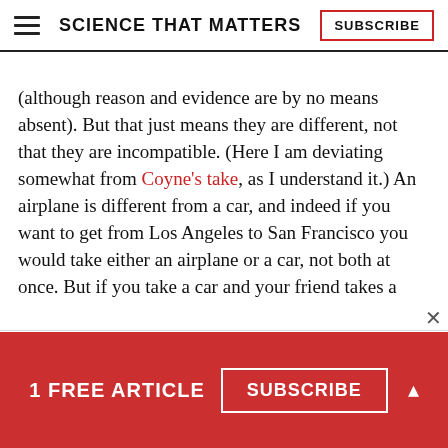SCIENCE THAT MATTERS | SUBSCRIBE
(although reason and evidence are by no means absent). But that just means they are different, not that they are incompatible. (Here I am deviating somewhat from Coyne’s take, as I understand it.) An airplane is different from a car, and indeed if you want to get from Los Angeles to San Francisco you would take either an airplane or a car, not both at once. But if you take a car and your friend takes a
1 FREE ARTICLE  SUBSCRIBE